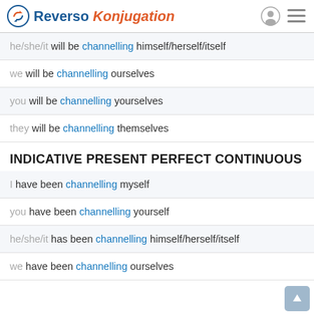Reverso Konjugation
he/she/it will be channelling himself/herself/itself
we will be channelling ourselves
you will be channelling yourselves
they will be channelling themselves
INDICATIVE PRESENT PERFECT CONTINUOUS
I have been channelling myself
you have been channelling yourself
he/she/it has been channelling himself/herself/itself
we have been channelling ourselves